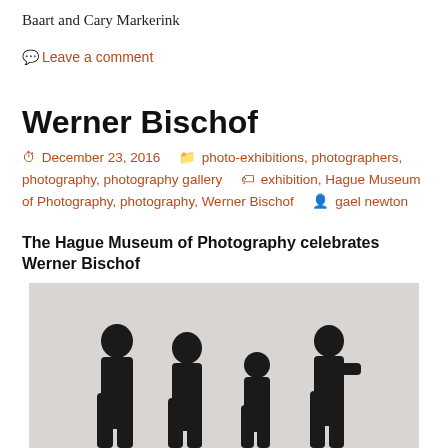Baart and Cary Markerink
Leave a comment
Werner Bischof
December 23, 2016   photo-exhibitions, photographers, photography, photography gallery   exhibition, Hague Museum of Photography, photography, Werner Bischof   gael newton
The Hague Museum of Photography celebrates Werner Bischof
[Figure (photo): Black and white photograph of four children silhouetted against a light grey background, standing in a row at different heights]